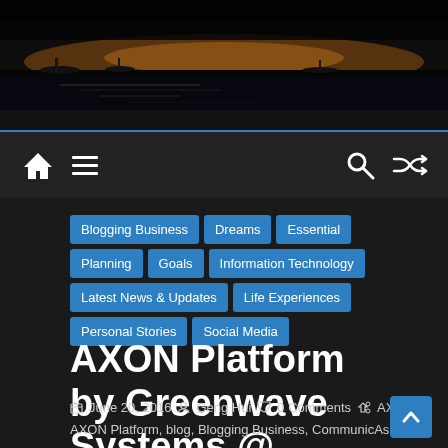[Figure (photo): Dark scenic photo of a waterfront/harbor at dusk or dawn with boats and reflections on water, dark sky]
Navigation bar with home icon, hamburger menu, search icon, and shuffle icon on dark background
Blogging Business
Dreams
Essential
Planning
Goals
Information Technology
Latest News & Updates
Life Experiences
Personal Stories
Social Media
AXON Platform by Greenwave Systems @ CommunicAsia 2016
June 20, 2016  Geng Hui  0 Comments  AXON, AXON Platform, blog, Blogging Business, CommunicAsia,